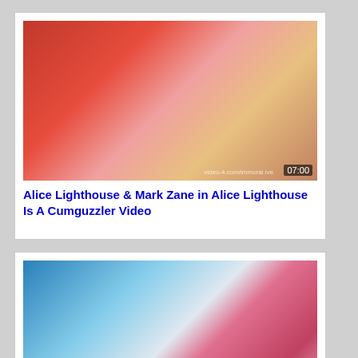[Figure (photo): Video thumbnail showing adult content with timestamp 07:00 and watermark video-4.com/immoral.ive]
Alice Lighthouse & Mark Zane in Alice Lighthouse Is A Cumguzzler Video
[Figure (photo): Video thumbnail showing adult content with timestamp 08:03 and watermark hiupass.com]
Seth Gamble, Alice Lighthouse in Blazing body Video